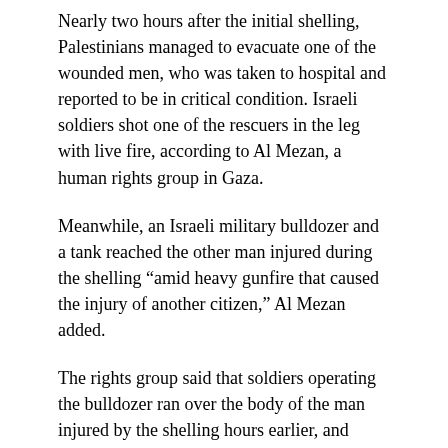Nearly two hours after the initial shelling, Palestinians managed to evacuate one of the wounded men, who was taken to hospital and reported to be in critical condition. Israeli soldiers shot one of the rescuers in the leg with live fire, according to Al Mezan, a human rights group in Gaza.
Meanwhile, an Israeli military bulldozer and a tank reached the other man injured during the shelling “amid heavy gunfire that caused the injury of another citizen,” Al Mezan added.
The rights group said that soldiers operating the bulldozer ran over the body of the man injured by the shelling hours earlier, and dropped him to the ground to “confirm the kill.”
Witnesses recorded video of the horrific incident:
#شاهد_على_الاحتلال_يكتل_حتى_انتشر_ويتقلم